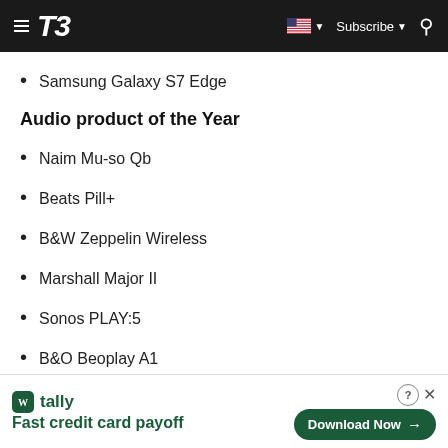T3 — Subscribe
Samsung Galaxy S7 Edge
Audio product of the Year
Naim Mu-so Qb
Beats Pill+
B&W Zeppelin Wireless
Marshall Major II
Sonos PLAY:5
B&O Beoplay A1
[Figure (screenshot): Tally app advertisement banner: 'Fast credit card payoff' with Download Now button]